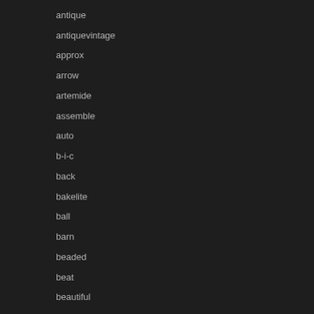antique
antiquevintage
approx
arrow
artemide
assemble
auto
b-i-c
back
bakelite
ball
barn
beaded
beat
beautiful